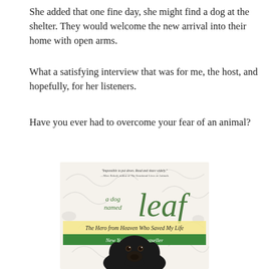She added that one fine day, she might find a dog at the shelter. They would welcome the new arrival into their home with open arms.
What a satisfying interview that was for me, the host, and hopefully, for her listeners.
Have you ever had to overcome your fear of an animal?
[Figure (illustration): Book cover of 'a dog named leaf: The Hero from Heaven Who Saved My Life' — New York Times Bestseller. Shows a black cocker spaniel dog on a light floral background. Quote at top: 'Impossible to put down. Read and share widely.' —Marc Bekoff, author of The Emotional Lives of Animals.]